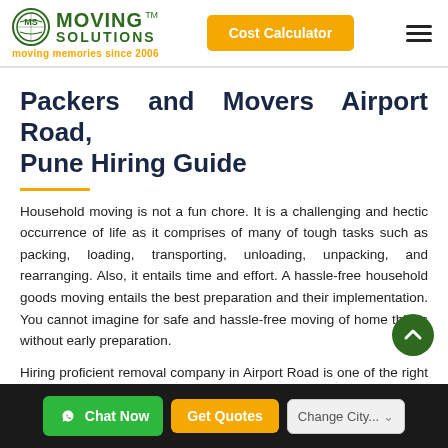Moving Solutions — moving memories since 2006 | Cost Calculator
Packers and Movers Airport Road, Pune Hiring Guide
Household moving is not a fun chore. It is a challenging and hectic occurrence of life as it comprises of many of tough tasks such as packing, loading, transporting, unloading, unpacking, and rearranging. Also, it entails time and effort. A hassle-free household goods moving entails the best preparation and their implementation. You cannot imagine for safe and hassle-free moving of home things without early preparation.
Hiring proficient removal company in Airport Road is one of the right things to do on household goods moving. If you wish to make the process...